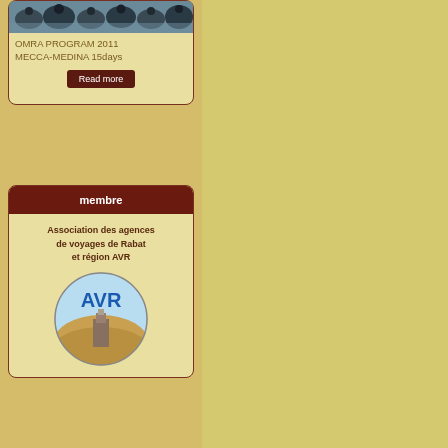[Figure (photo): Photo of mosque dome tops/turrets against a blue surface]
OMRA PROGRAM 2011 MECCA-MEDINA 15days
Read more
membre
Association des agences de voyages de Rabat et région AVR
[Figure (logo): AVR logo - circular logo with blue sky, desert landscape, and AVR text in blue]